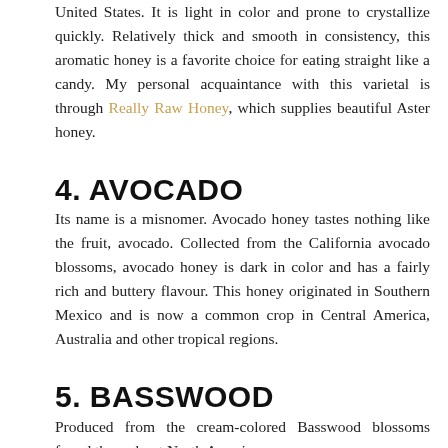United States. It is light in color and prone to crystallize quickly. Relatively thick and smooth in consistency, this aromatic honey is a favorite choice for eating straight like a candy. My personal acquaintance with this varietal is through Really Raw Honey, which supplies beautiful Aster honey.
4. AVOCADO
Its name is a misnomer. Avocado honey tastes nothing like the fruit, avocado. Collected from the California avocado blossoms, avocado honey is dark in color and has a fairly rich and buttery flavour. This honey originated in Southern Mexico and is now a common crop in Central America, Australia and other tropical regions.
5. BASSWOOD
Produced from the cream-colored Basswood blossoms found throughout North America